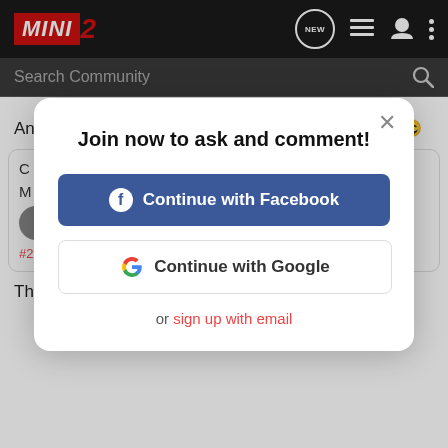[Figure (screenshot): MINI2 community website navigation bar with logo, NEW bubble, list icon, user icon, and dots menu]
[Figure (screenshot): Search Community input bar with search icon]
Any chance of some pictures of you in a mini Silvy? 😄
[Figure (screenshot): Modal dialog: Join now to ask and comment! with Continue with Facebook button, Continue with Google button, and 'or sign up with email' link. Background shows partially visible forum thread with green button and #2 hash tag.]
Thats it.......mines red.